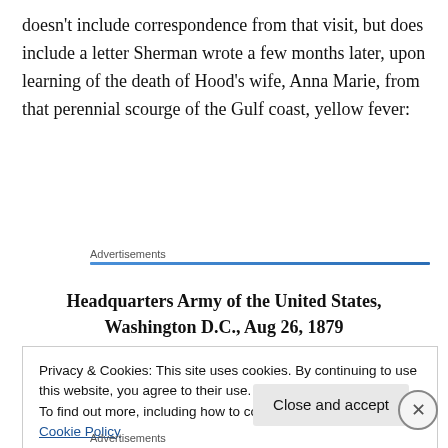doesn't include correspondence from that visit, but does include a letter Sherman wrote a few months later, upon learning of the death of Hood's wife, Anna Marie, from that perennial scourge of the Gulf coast, yellow fever:
Advertisements
Headquarters Army of the United States, Washington D.C., Aug 26, 1879
Privacy & Cookies: This site uses cookies. By continuing to use this website, you agree to their use.
To find out more, including how to control cookies, see here: Cookie Policy
Close and accept
Advertisements